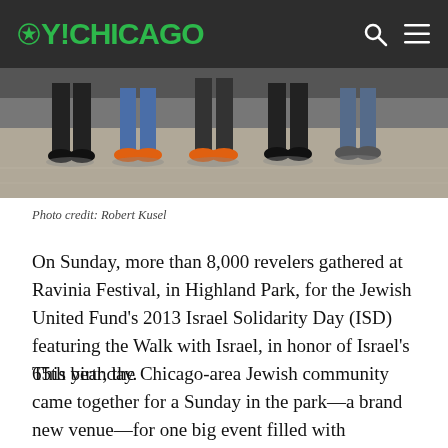OY!CHICAGO
[Figure (photo): Bottom portion of a group of people standing on pavement, showing their feet and lower legs, some wearing orange sneakers]
Photo credit: Robert Kusel
On Sunday, more than 8,000 revelers gathered at Ravinia Festival, in Highland Park, for the Jewish United Fund's 2013 Israel Solidarity Day (ISD) featuring the Walk with Israel, in honor of Israel's 65th birthday.
This year, the Chicago-area Jewish community came together for a Sunday in the park—a brand new venue—for one big event filled with exercise, gemilut hasadim (acts of loving kindness), music, food, family fun, and